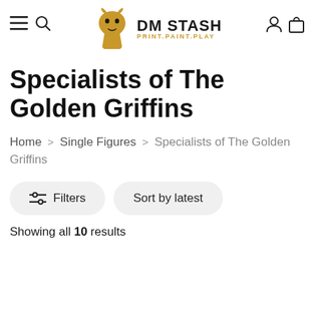DM STASH PRINT.PAINT.PLAY
Specialists of The Golden Griffins
Home > Single Figures > Specialists of The Golden Griffins
Filters | Sort by latest
Showing all 10 results